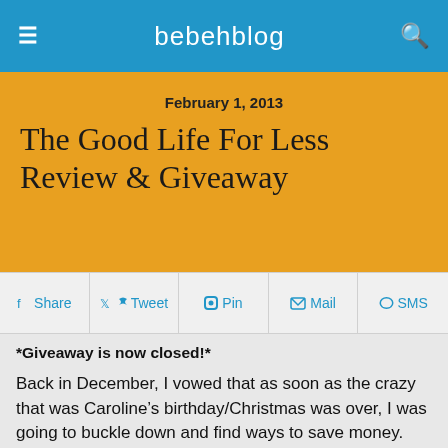bebehblog
February 1, 2013
The Good Life For Less Review & Giveaway
Share  Tweet  Pin  Mail  SMS
*Giveaway is now closed!*
Back in December, I vowed that as soon as the crazy that was Caroline's birthday/Christmas was over, I was going to buckle down and find ways to save money. And then, like magic, I got an email in my inbox asking if I'd be interested in reading and giving away a copy